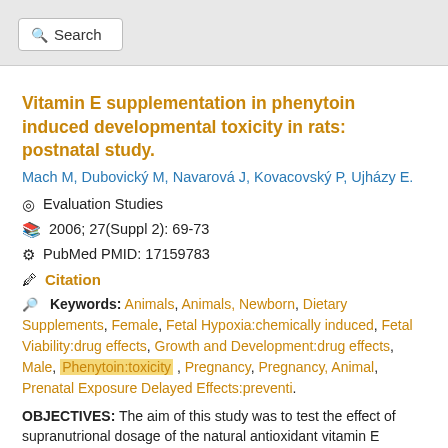[Figure (screenshot): Search bar UI element with magnifying glass icon and 'Search' text, gray background]
Vitamin E supplementation in phenytoin induced developmental toxicity in rats: postnatal study.
Mach M, Dubovický M, Navarová J, Kovacovský P, Ujházy E.
⊙ Evaluation Studies
2006; 27(Suppl 2): 69-73
PubMed PMID: 17159783
Citation
Keywords: Animals, Animals, Newborn, Dietary Supplements, Female, Fetal Hypoxia:chemically induced, Fetal Viability:drug effects, Growth and Development:drug effects, Male, Phenytoin:toxicity , Pregnancy, Pregnancy, Animal, Prenatal Exposure Delayed Effects:preventi.
OBJECTIVES: The aim of this study was to test the effect of supranutrional dosage of the natural antioxidant vitamin E